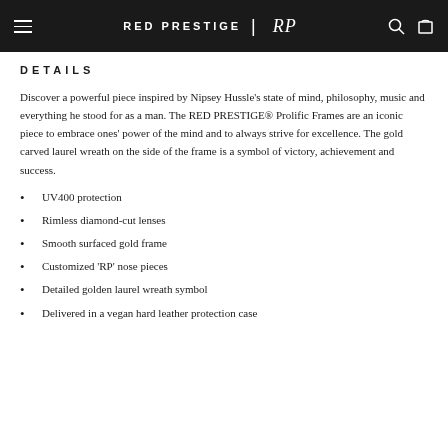RED PRESTIGE | RP
DETAILS
Discover a powerful piece inspired by Nipsey Hussle's state of mind, philosophy, music and everything he stood for as a man. The RED PRESTIGE® Prolific Frames are an iconic piece to embrace ones' power of the mind and to always strive for excellence. The gold carved laurel wreath on the side of the frame is a symbol of victory, achievement and success.
UV400 protection
Rimless diamond-cut lenses
Smooth surfaced gold frame
Customized 'RP' nose pieces
Detailed golden laurel wreath symbol
Delivered in a vegan hard leather protection case